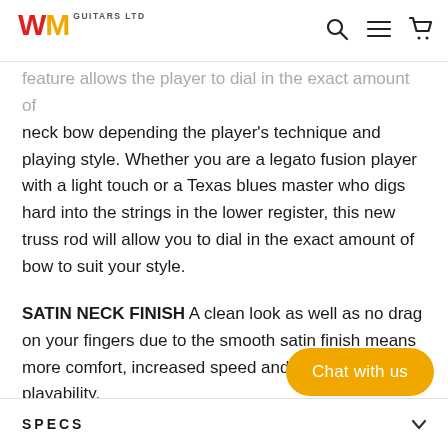WM Guitars Ltd
feature allows the player to dial in the exact amount of neck bow depending the player's technique and playing style. Whether you are a legato fusion player with a light touch or a Texas blues master who digs hard into the strings in the lower register, this new truss rod will allow you to dial in the exact amount of bow to suit your style.
SATIN NECK FINISH A clean look as well as no drag on your fingers due to the smooth satin finish means more comfort, increased speed and enhanced playability.
SPECS